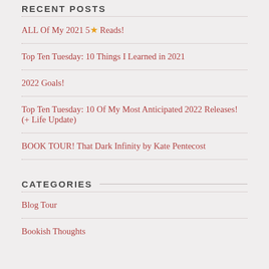RECENT POSTS
ALL Of My 2021 5★ Reads!
Top Ten Tuesday: 10 Things I Learned in 2021
2022 Goals!
Top Ten Tuesday: 10 Of My Most Anticipated 2022 Releases! (+ Life Update)
BOOK TOUR! That Dark Infinity by Kate Pentecost
CATEGORIES
Blog Tour
Bookish Thoughts